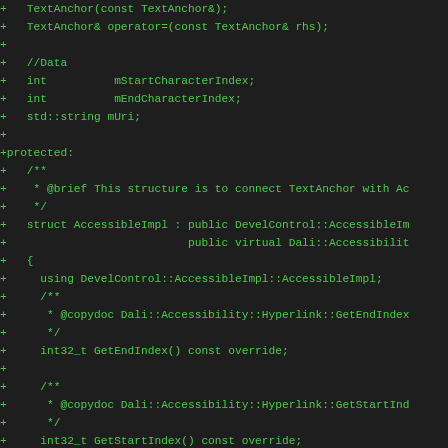[Figure (screenshot): Code diff snippet in dark theme showing C++ class code with green text on dark background. Lines prefixed with '+' showing additions including TextAnchor operator, data members, protected section with AccessibleImpl struct, and several method declarations with @copydoc comments.]